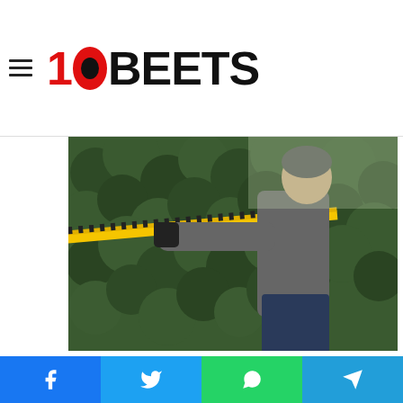10BEETS
[Figure (photo): A person wearing a grey long-sleeve shirt and black gloves using a yellow Dewalt hedge trimmer on a dense green hedge, outdoors.]
We think that this hedge trimmer from Dewalt is indeed one of the best you can ever find in the market today. It features a powerful motor, which is very important in ensuring convenience and efficiency in trimming hedges. The output of the motor is great, an